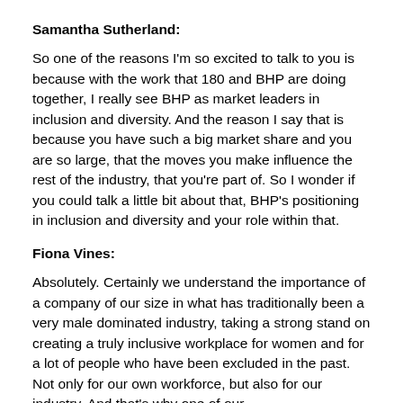Samantha Sutherland:
So one of the reasons I'm so excited to talk to you is because with the work that 180 and BHP are doing together, I really see BHP as market leaders in inclusion and diversity. And the reason I say that is because you have such a big market share and you are so large, that the moves you make influence the rest of the industry, that you're part of. So I wonder if you could talk a little bit about that, BHP's positioning in inclusion and diversity and your role within that.
Fiona Vines:
Absolutely. Certainly we understand the importance of a company of our size in what has traditionally been a very male dominated industry, taking a strong stand on creating a truly inclusive workplace for women and for a lot of people who have been excluded in the past. Not only for our own workforce, but also for our industry. And that's why one of our